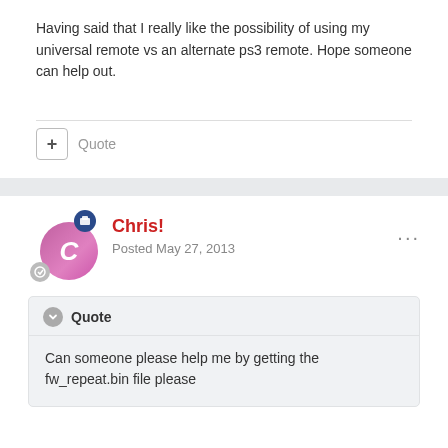Having said that I really like the possibility of using my universal remote vs an alternate ps3 remote. Hope someone can help out.
Quote
Chris!
Posted May 27, 2013
Quote
Can someone please help me by getting the fw_repeat.bin file please
Old Beta's are depreciated when new ones come out. Check out here: